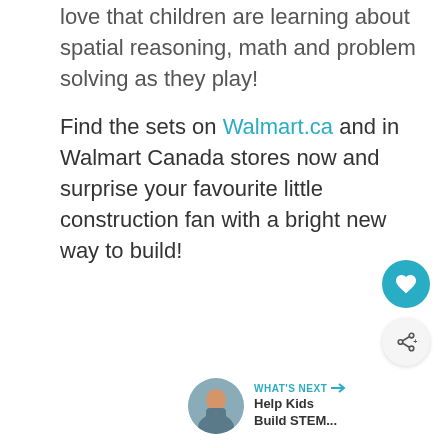love that children are learning about spatial reasoning, math and problem solving as they play! Find the sets on Walmart.ca and in Walmart Canada stores now and surprise your favourite little construction fan with a bright new way to build!
[Figure (other): Heart icon button (teal circular button with white heart icon) and share icon button (light circular button with share/connect icon)]
[Figure (other): WHAT'S NEXT promo card with a circular photo of a child and text: Help Kids Build STEM...]